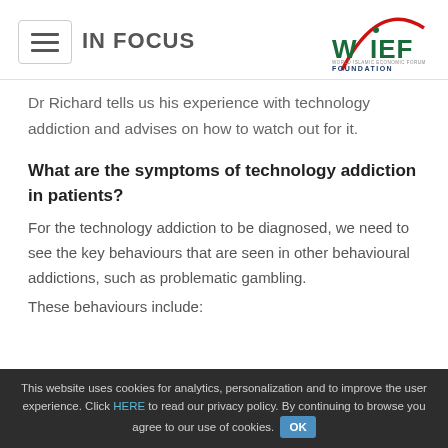IN FOCUS
Dr Richard tells us his experience with technology addiction and advises on how to watch out for it.
What are the symptoms of technology addiction in patients?
For the technology addiction to be diagnosed, we need to see the key behaviours that are seen in other behavioural addictions, such as problematic gambling.
These behaviours include:
This website uses cookies for analytics, personalization and to improve the user experience. Click HERE to read our privacy policy. By continuing to browse you agree to our use of cookies. OK